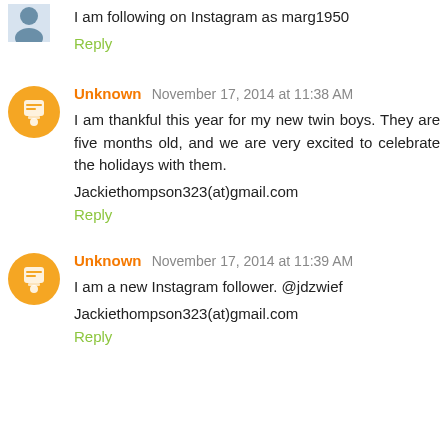I am following on Instagram as marg1950
Reply
Unknown November 17, 2014 at 11:38 AM
I am thankful this year for my new twin boys. They are five months old, and we are very excited to celebrate the holidays with them.

Jackiethompson323(at)gmail.com
Reply
Unknown November 17, 2014 at 11:39 AM
I am a new Instagram follower. @jdzwief

Jackiethompson323(at)gmail.com
Reply